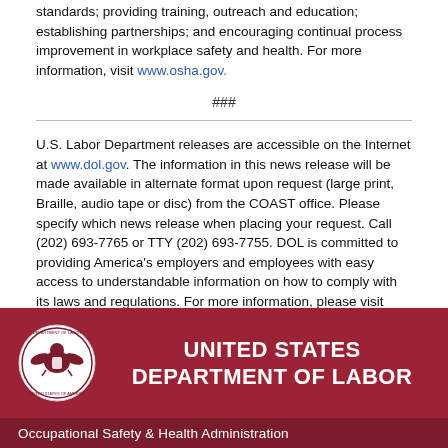standards; providing training, outreach and education; establishing partnerships; and encouraging continual process improvement in workplace safety and health. For more information, visit www.osha.gov.
###
U.S. Labor Department releases are accessible on the Internet at www.dol.gov. The information in this news release will be made available in alternate format upon request (large print, Braille, audio tape or disc) from the COAST office. Please specify which news release when placing your request. Call (202) 693-7765 or TTY (202) 693-7755. DOL is committed to providing America's employers and employees with easy access to understandable information on how to comply with its laws and regulations. For more information, please visit www.dol.gov/compliance.
[Figure (logo): United States Department of Labor seal and banner with OSHA bar at bottom]
Occupational Safety & Health Administration